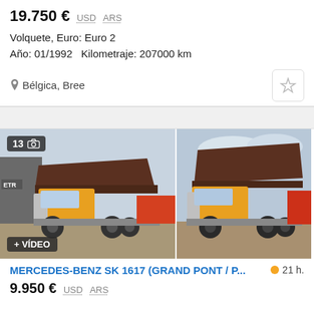19.750 € USD ARS
Volquete, Euro: Euro 2
Año: 01/1992   Kilometraje: 207000 km
Bélgica, Bree
[Figure (photo): Two dump trucks (Mercedes-Benz SK 1617) with yellow cab and brown tipper body, parked in a yard. Left photo has a photo count badge showing 13 and a camera icon, and a '+ VÍDEO' badge at bottom left.]
MERCEDES-BENZ SK 1617 (GRAND PONT / P...
21 h.
9.950 € USD ARS